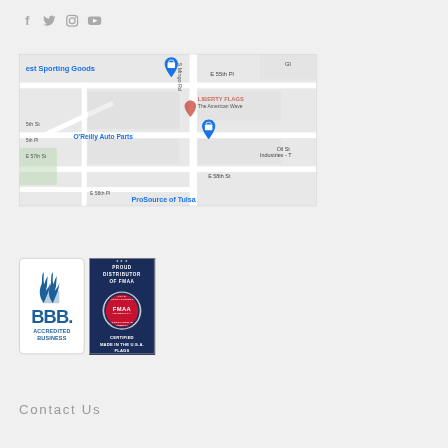[Figure (other): Social media icons: Facebook (f), Twitter (bird), Instagram (camera), YouTube (play button) — all in light gray]
[Figure (map): Google Maps screenshot showing a neighborhood in Tulsa, Oklahoma. Visible labels include: 'est Sporting Goods', 'O'Reilly Auto Parts', 'E 55th Pl', 'S Mingo Rd', 'E 57th St', 'E 58th St', 'E 58th Pl', 'LIBERTY FLAGS The American Wave', 'Oil St Industries - T', 'ProSource of Tulsa', 'Gla'. Map pins visible.]
[Figure (logo): BBB Accredited Business logo — blue shield/flame icon above 'BBB.' text and 'ACCREDITED BUSINESS' label, white background with rounded border]
[Figure (logo): FMAA badge — dark navy background with white text 'PROUD DISTRIBUTOR OF FMAA', circular red/navy FMAA seal in center, 'CERTIFIED MADE IN THE U.S.A. FLAGS' at bottom]
Contact Us